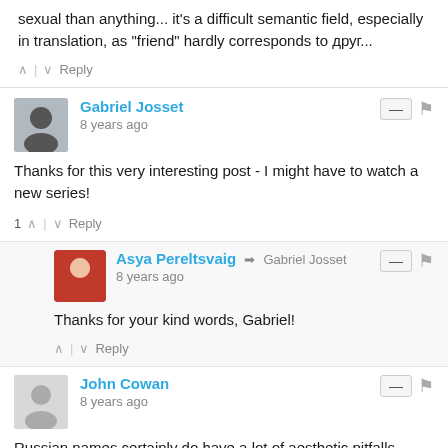sexual than anything... it's a difficult semantic field, especially in translation, as "friend" hardly corresponds to друг...
^ | v Reply
Gabriel Josset
8 years ago
Thanks for this very interesting post - I might have to watch a new series!
1 ^ | v Reply
Asya Pereltsvaig → Gabriel Josset
8 years ago
Thanks for your kind words, Gabriel!
^ | v Reply
John Cowan
8 years ago
Russian names certainly do have a lot of aesthetic pitfalls. Consider the case of Akaky Akakievich Bashmachkin in Gogol's "Overcoat", whose mother gives him that name only because the names offered to her were even more horrible: